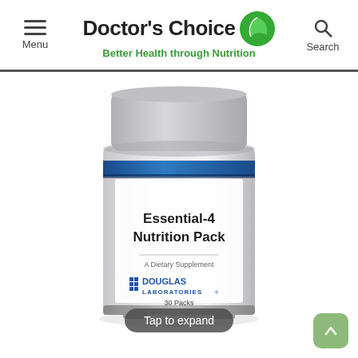Menu | Doctor's Choice - Better Health through Nutrition | Search
[Figure (photo): A white cylindrical supplement container labeled 'Essential-4 Nutrition Pack', A Dietary Supplement, Douglas Laboratories, 30 Packs, with a blue band near the top.]
Tap to expand